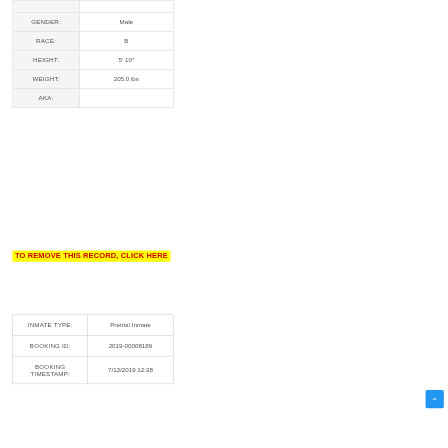| Field | Value |
| --- | --- |
| GENDER: | Male |
| RACE: | B |
| HEIGHT: | 5’ 10” |
| WEIGHT: | 205.0 lbs |
| AKA: |  |
TO REMOVE THIS RECORD, CLICK HERE
| Field | Value |
| --- | --- |
| INMATE TYPE: | Pretrial Inmate |
| BOOKING ID: | 2019-00008189 |
| BOOKING TIMESTAMP: | 7/13/2019 12:28 |